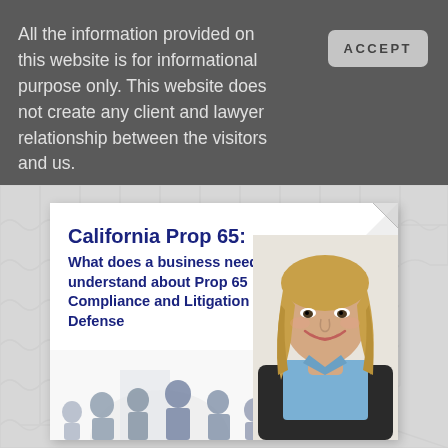All the information provided on this website is for informational purpose only. This website does not create any client and lawyer relationship between the visitors and us.
[Figure (other): ACCEPT button — grey rounded rectangle with bold uppercase text]
[Figure (illustration): Book/article cover page showing title 'California Prop 65: What does a business need to understand about Prop 65 Compliance and Litigation Defense' by Jonathan L. Allen, Jonathan L. Allen, APC. Features a photo of a blonde woman in a blue shirt and jacket, with silhouettes of people in a meeting room in the background. The page has a puzzle-piece patterned background.]